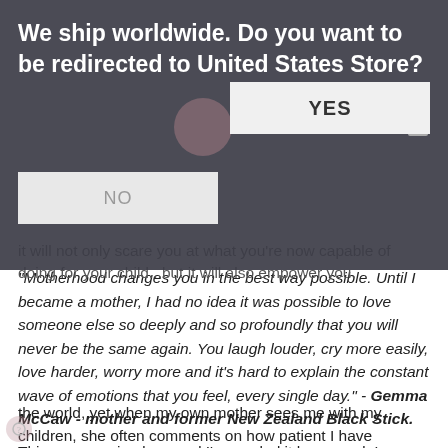[Figure (screenshot): Dark overlay modal dialog on an e-commerce website asking 'We ship worldwide. Do you want to be redirected to United States Store?' with YES and NO buttons.]
it will not only scare you at what you're now capable of doing for your child...but it will also empower you.
"Motherhood changes you in the best way possible. Until I became a mother, I had no idea it was possible to love someone else so deeply and so profoundly that you will never be the same again. You laugh louder, cry more easily, love harder, worry more and it's hard to explain the constant wave of emotions that you feel, every single day." - Gemma McCaw - mother and former New Zealand Black Stick.
This one surprised me and I'm so glad it happened. I became more patient. I am the most impatient person in the world, yet when my own mother sees me with my children, she often comments on how patient I have